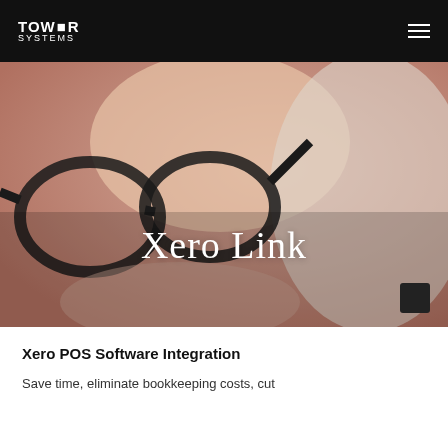TOWER SYSTEMS
[Figure (photo): Close-up photo of a baby or toddler looking through black-framed glasses, wearing a white garment. The image is used as a hero banner background.]
Xero Link
Xero POS Software Integration
Save time, eliminate bookkeeping costs, cut